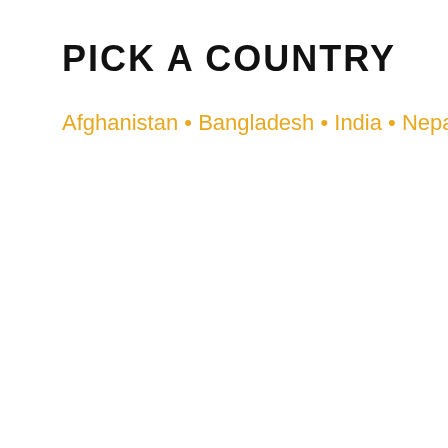PICK A COUNTRY
Afghanistan • Bangladesh • India • Nepal • Sri Lanka